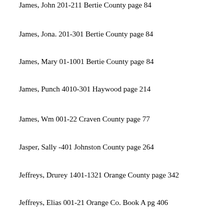James, John 201-211 Bertie County page 84
James, Jona. 201-301 Bertie County page 84
James, Mary 01-1001 Bertie County page 84
James, Punch 4010-301 Haywood page 214
James, Wm 001-22 Craven County page 77
Jasper, Sally -401 Johnston County page 264
Jeffreys, Drurey 1401-1321 Orange County page 342
Jeffreys, Elias 001-21 Orange Co. Book A pg 406
Jeffreys, Hudson 2201-3101 Caswell page 67